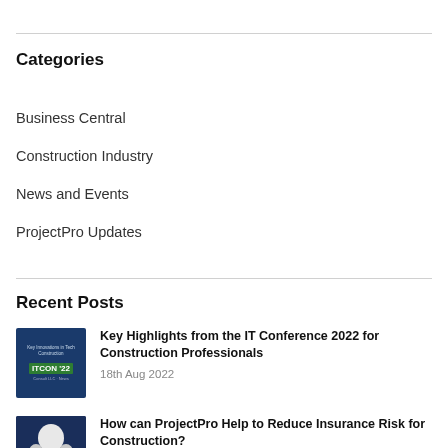Categories
Business Central
Construction Industry
News and Events
ProjectPro Updates
Recent Posts
[Figure (photo): ITCON '22 conference thumbnail image with green badge on dark blue background]
Key Highlights from the IT Conference 2022 for Construction Professionals
18th Aug 2022
[Figure (photo): Group of people thumbnail image on dark blue background]
How can ProjectPro Help to Reduce Insurance Risk for Construction?